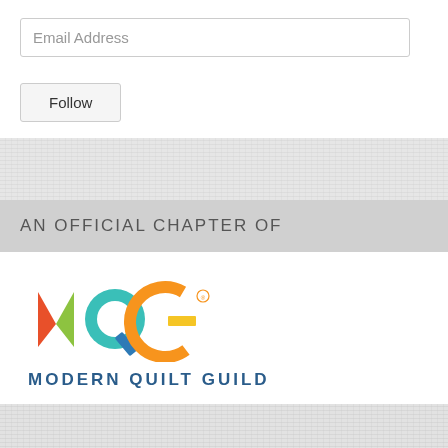Email Address
Follow
AN OFFICIAL CHAPTER OF
[Figure (logo): Modern Quilt Guild (MQG) logo with colorful letters M, Q, G and wordmark MODERN QUILT GUILD in dark blue below]
UPCOMING EVENTS
Follow